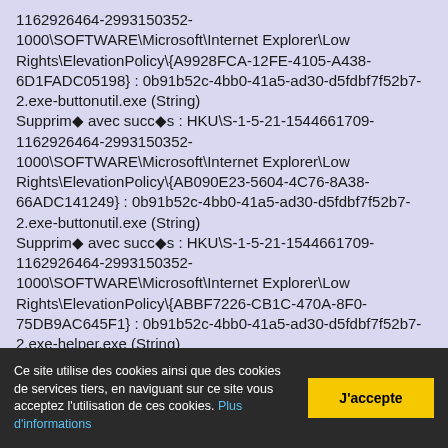1162926464-2993150352-1000\SOFTWARE\Microsoft\Internet Explorer\Low Rights\ElevationPolicy\{A9928FCA-12FE-4105-A438-6D1FADC05198} : 0b91b52c-4bb0-41a5-ad30-d5fdbf7f52b7-2.exe-buttonutil.exe (String) Supprimé avec succès : HKU\S-1-5-21-1544661709-1162926464-2993150352-1000\SOFTWARE\Microsoft\Internet Explorer\Low Rights\ElevationPolicy\{AB090E23-5604-4C76-8A38-66ADC141249} : 0b91b52c-4bb0-41a5-ad30-d5fdbf7f52b7-2.exe-buttonutil.exe (String) Supprimé avec succès : HKU\S-1-5-21-1544661709-1162926464-2993150352-1000\SOFTWARE\Microsoft\Internet Explorer\Low Rights\ElevationPolicy\{ABBF7226-CB1C-470A-8F0-75DB9AC645F1} : 0b91b52c-4bb0-41a5-ad30-d5fdbf7f52b7-2.exe-helper.exe (String) Supprimé avec succès : HKU\S-1-5-21-1544661709-1162926464-2993150352-1000\SOFTWARE\Microsoft\Internet Explorer\Low Rights\ElevationPolicy\{ACCA5BD9-C7C0-47A1-AD40-FB232A9B6084} : 61a0e478-5e7d-4e17-a92a-b732a2453430-2.exe-buttonutil64.exe (String)
Ce site utilise des cookies ainsi que des cookies de services tiers, en naviguant sur ce site vous acceptez l'utilisation de ces cookies. Plus d'informations